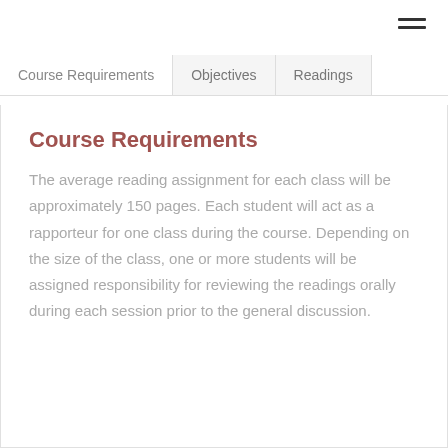Course Requirements | Objectives | Readings
Course Requirements
The average reading assignment for each class will be approximately 150 pages. Each student will act as a rapporteur for one class during the course. Depending on the size of the class, one or more students will be assigned responsibility for reviewing the readings orally during each session prior to the general discussion.